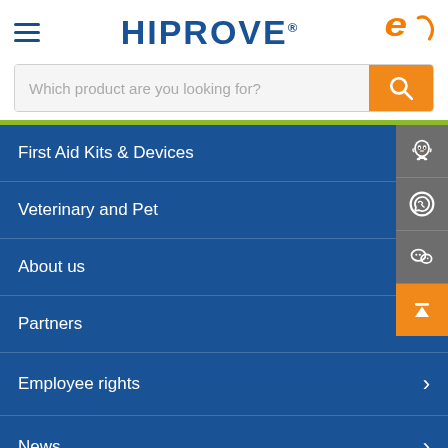HIPROVE®
Which product are you looking for?
First Aid Kits & Devices
Veterinary and Pet
About us
Partners
Employee rights
News